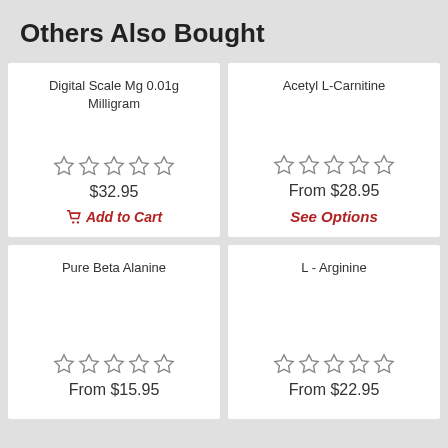Others Also Bought
Digital Scale Mg 0.01g Milligram
☆☆☆☆☆
$32.95
Add to Cart
Acetyl L-Carnitine
☆☆☆☆☆
From $28.95
See Options
Pure Beta Alanine
☆☆☆☆☆
From $15.95
L - Arginine
☆☆☆☆☆
From $22.95